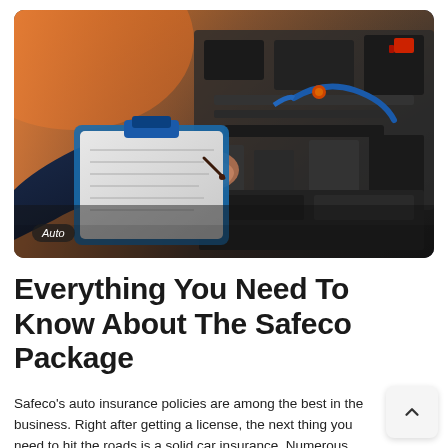[Figure (photo): A mechanic in a dark blue jacket writing on a clipboard, with a car engine bay open in the background. Warm orange lighting on the left side from a shop light. An 'Auto' badge label appears in the bottom-left corner of the image.]
Everything You Need To Know About The Safeco Package
Safeco's auto insurance policies are among the best in the business. Right after getting a license, the next thing you need to hit the roads is a solid car insurance. Numerous Safeco